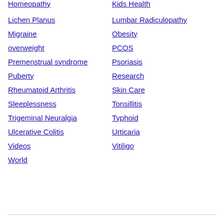Homeopathy
Kids Health
Lichen Planus
Lumbar Radiculopathy
Migraine
Obesity
overweight
PCOS
Premenstrual syndrome
Psoriasis
Puberty
Research
Rheumatoid Arthritis
Skin Care
Sleeplessness
Tonsillitis
Trigeminal Neuralgia
Typhoid
Ulcerative Colitis
Urticaria
Videos
Vitiligo
World